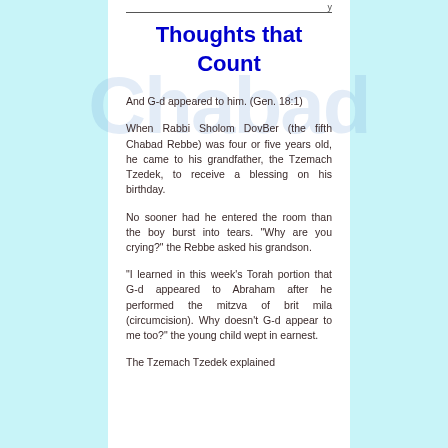Thoughts that Count
And G-d appeared to him. (Gen. 18:1)
When Rabbi Sholom DovBer (the fifth Chabad Rebbe) was four or five years old, he came to his grandfather, the Tzemach Tzedek, to receive a blessing on his birthday.
No sooner had he entered the room than the boy burst into tears. "Why are you crying?" the Rebbe asked his grandson.
"I learned in this week's Torah portion that G-d appeared to Abraham after he performed the mitzva of brit mila (circumcision). Why doesn't G-d appear to me too?" the young child wept in earnest.
The Tzemach Tzedek explained